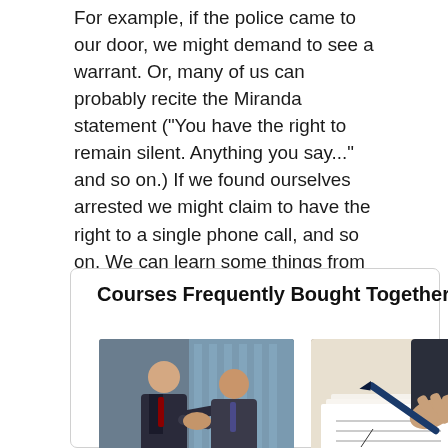For example, if the police came to our door, we might demand to see a warrant. Or, many of us can probably recite the Miranda statement ("You have the right to remain silent. Anything you say..." and so on.) If we found ourselves arrested we might claim to have the right to a single phone call, and so on. We can learn some things from these media, so we will talk about them in this course. Next time you read a book or watch a movie, remember what you learned.
Courses Frequently Bought Together:
[Figure (photo): Two businessmen in suits shaking hands in front of a modern glass building]
Business Ethics
[Figure (photo): Close-up of a hand holding a pen signing a document]
Contract Law 101 -